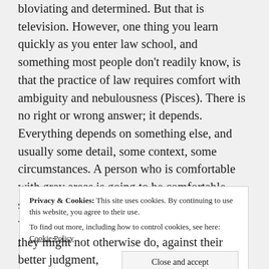bloviating and determined. But that is television. However, one thing you learn quickly as you enter law school, and something most people don't readily know, is that the practice of law requires comfort with ambiguity and nebulousness (Pisces). There is no right or wrong answer; it depends. Everything depends on something else, and usually some detail, some context, some circumstances. A person who is comfortable with gray areas is going to be comfortable studying law. A person who can empathize with others and see all sides of the issue is going to be able to write a more successful legal memo than someone who can only see in one direction. Even though I do have the traditional signs
Privacy & Cookies: This site uses cookies. By continuing to use this website, you agree to their use. To find out more, including how to control cookies, see here: Cookie Policy
they might not otherwise do, against their better judgment,